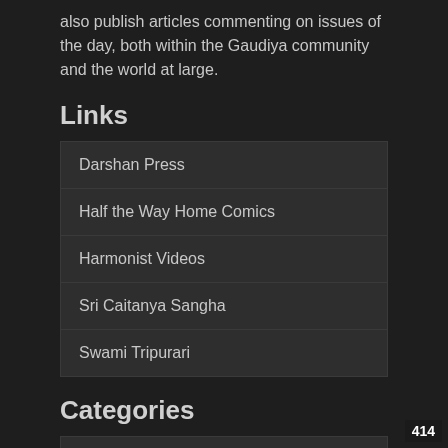also publish articles commenting on issues of the day, both within the Gaudiya community and the world at large.
Links
Darshan Press
Half the Way Home Comics
Harmonist Videos
Sri Caitanya Sangha
Swami Tripurari
Categories
Home
Editorials
Reviews
News
Classroom
414